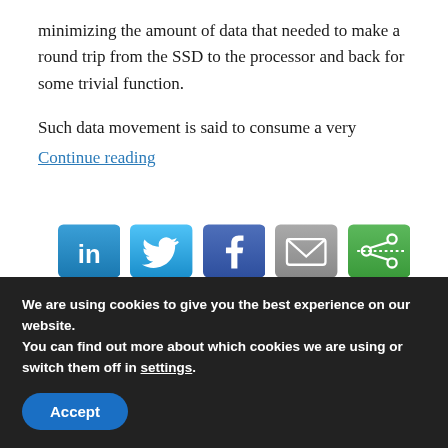minimizing the amount of data that needed to make a round trip from the SSD to the processor and back for some trivial function.
Such data movement is said to consume a very
Continue reading
[Figure (other): Row of five social sharing icon buttons: LinkedIn (blue), Twitter (blue), Facebook (dark blue), Email (gray), and a green share/save icon.]
April 30, 2021 / Enterprise SSDs, SSD Controllers
We are using cookies to give you the best experience on our website.
You can find out more about which cookies we are using or switch them off in settings.
Accept